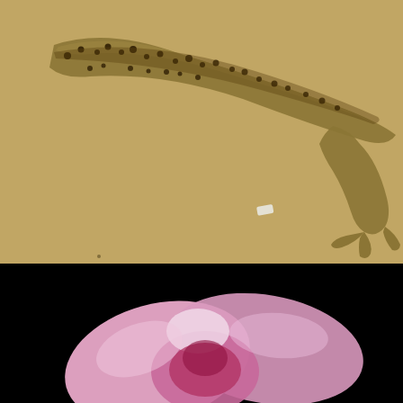[Figure (photo): Photograph of an Eastern Newt (Notophthalmus viridescens) with spotted pattern on a tan/khaki background, showing the body and hind leg of the newt floating in a small pool.]
An Eastern Newt (Notophthalmus viridescens), as found floating in a small pool.
[Figure (photo): Close-up photograph of a pink flower (likely a cyclamen or similar) against a black background, showing petals in pink/magenta tones.]